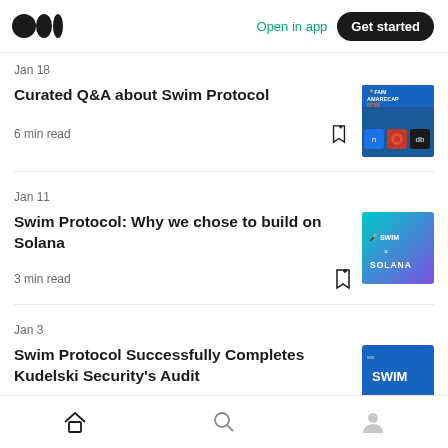Medium app header with logo, Open in app, Get started
Jan 18
Curated Q&A about Swim Protocol
6 min read
[Figure (screenshot): Swim Protocol AMA/RECAP article thumbnail with crypto logos]
Jan 11
Swim Protocol: Why we chose to build on Solana
3 min read
[Figure (screenshot): Swim x Solana article thumbnail with teal/purple gradient background]
Jan 3
Swim Protocol Successfully Completes Kudelski Security's Audit
[Figure (screenshot): Swim Protocol article thumbnail with blue background and SWIM text]
Home, Search, Profile navigation